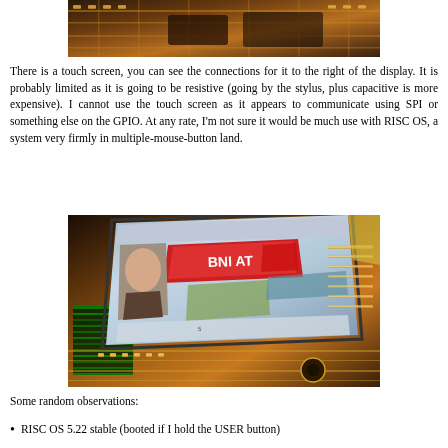[Figure (photo): Close-up photo of a circuit board with golden connectors, partially visible at the top of the page]
There is a touch screen, you can see the connections for it to the right of the display. It is probably limited as it is going to be resistive (going by the stylus, plus capacitive is more expensive). I cannot use the touch screen as it appears to communicate using SPI or something else on the GPIO. At any rate, I'm not sure it would be much use with RISC OS, a system very firmly in multiple-mouse-button land.
[Figure (photo): Photo of a small LCD display showing a desktop environment (RISC OS), mounted on a circuit board with golden traces and connectors visible]
Some random observations:
RISC OS 5.22 stable (booted if I hold the USER button)